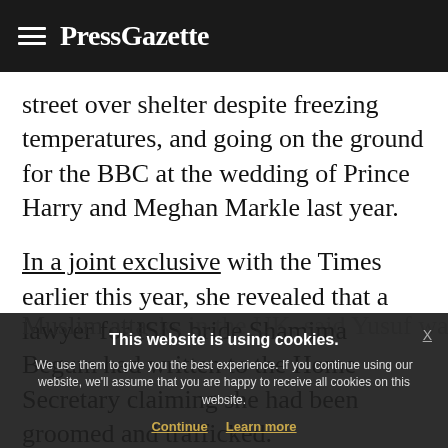PressGazette
street over shelter despite freezing temperatures, and going on the ground for the BBC at the wedding of Prince Harry and Meghan Markle last year.
In a joint exclusive with the Times earlier this year, she revealed that a lawyer for ISIS bride Shamima Begum had written to the Home Secretary claiming she had been groomed and trafficked.
This website is using cookies. We use them to give you the best experience. If you continue using our website, we'll assume that you are happy to receive all cookies on this website.
Muslim attacks in the UK, said Yusuf was